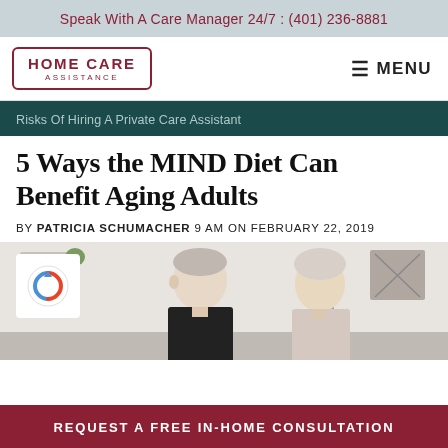Speak With A Care Manager 24/7 : (401) 236-8881
[Figure (logo): Home Care Assistance logo in a rounded rectangle border]
≡ MENU
Risks Of Hiring A Private Care Assistant
5 Ways the MIND Diet Can Benefit Aging Adults
BY PATRICIA SCHUMACHER 9 AM ON FEBRUARY 22, 2019
[Figure (photo): Two elderly adults (a man and woman) sitting together indoors, smiling]
REQUEST A FREE IN-HOME CONSULTATION